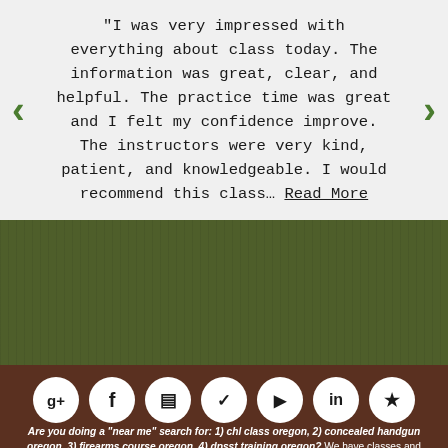"I was very impressed with everything about class today. The information was great, clear, and helpful. The practice time was great and I felt my confidence improve. The instructors were very kind, patient, and knowledgeable. I would recommend this class… Read More
[Figure (other): Dark olive green textured background section]
[Figure (other): Row of 7 white circular social media icon buttons on brown background: Google+, Facebook, Instagram, Twitter, YouTube, LinkedIn, Yelp/Star]
Are you doing a "near me" search for: 1) chl class oregon, 2) concealed handgun oregon, 3) firearms course oregon, 4) dpsst training oregon? We have classes and courses near the following cities and towns in the State of Oregon: Albany, Bend, Coburg, Coos Bay,